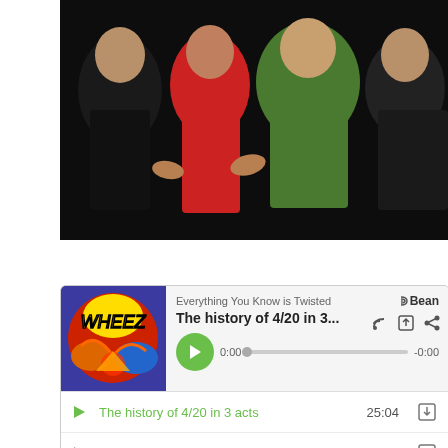[Figure (photo): Group photo of several people against a dark background, partially visible at top of page]
[Figure (screenshot): PodBean podcast player widget showing 'Everything You Know is Twisted' podcast, episode 'The history of 4/20 in 3...' with album art and playback controls, followed by a track list including: The history of 4/20 in 3 acts (25:04), Sticky Icky (02:52), Green Easter, a 420 ceremony for peace (01:07:20), The Stoner Highway by the Seeds of Doubt (02:51)]